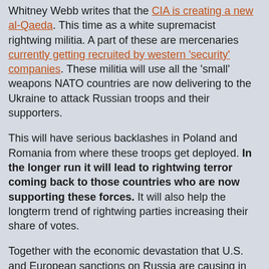Whitney Webb writes that the CIA is creating a new al-Qaeda. This time as a white supremacist rightwing militia. A part of these are mercenaries currently getting recruited by western 'security' companies. These militia will use all the 'small' weapons NATO countries are now delivering to the Ukraine to attack Russian troops and their supporters.
This will have serious backlashes in Poland and Romania from where these troops get deployed. In the longer run it will lead to rightwing terror coming back to those countries who are now supporting these forces. It will also help the longterm trend of rightwing parties increasing their share of votes.
Together with the economic devastation that U.S. and European sanctions on Russia are causing in their own economies this will end in regime-changes in several European countries. The U.S. is of course again protecting itself from as much as it can at the cost of others.
If there is a lesson to learn from Syria it is that the most ideological committed and most brutal people on the ground will not only proliferate their ideology into other countries. They are also the groups which